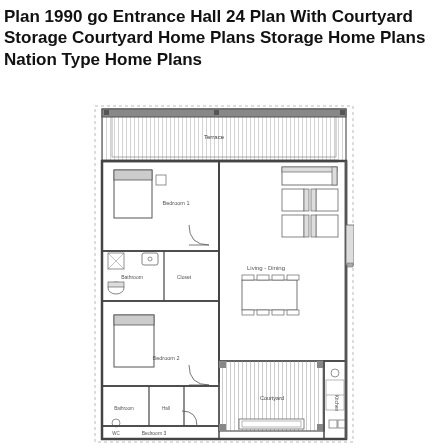Plan 1990 go Entrance Hall 24 Plan With Courtyard Storage Courtyard Home Plans Storage Home Plans Nation Type Home Plans
[Figure (engineering-diagram): Architectural floor plan of a narrow house showing: Terrace at top, Bedroom 1 with bed, Bathroom, Closet, Bedroom 2 with bed, Bathroom, Hall, WC, Bedroom 3 at bottom-left; and on the right side: Living-Dining area with sofa, chairs, dining table; Courtyard with pergola/hatching; Kitchen at bottom-right.]